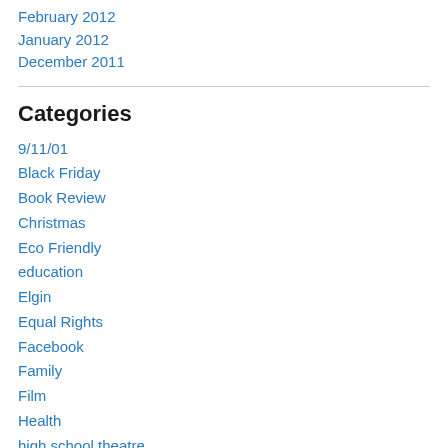February 2012
January 2012
December 2011
Categories
9/11/01
Black Friday
Book Review
Christmas
Eco Friendly
education
Elgin
Equal Rights
Facebook
Family
Film
Health
high school theatre